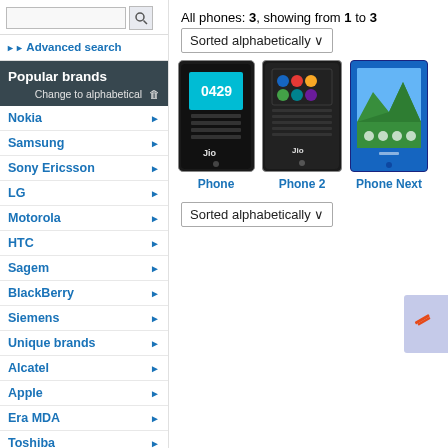Advanced search
Popular brands
Change to alphabetical
Nokia
Samsung
Sony Ericsson
LG
Motorola
HTC
Sagem
BlackBerry
Siemens
Unique brands
Alcatel
Apple
Era MDA
Toshiba
BenQ-Siemens
Asus
myPhone
All phones: 3, showing from 1 to 3
Sorted alphabetically
[Figure (screenshot): Three Jio phones: Phone, Phone 2, Phone Next shown as product images with labels below]
Sorted alphabetically